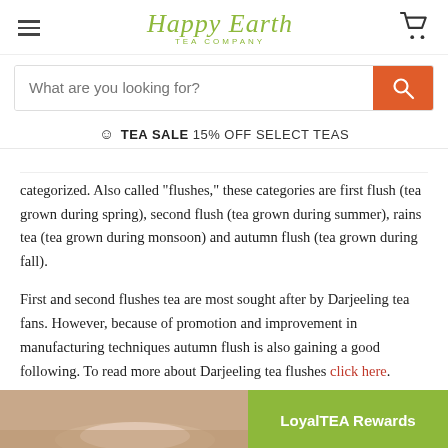Happy Earth TEA COMPANY
What are you looking for?
TEA SALE 15% OFF SELECT TEAS
categorized. Also called "flushes," these categories are first flush (tea grown during spring), second flush (tea grown during summer), rains tea (tea grown during monsoon) and autumn flush (tea grown during fall).
First and second flushes tea are most sought after by Darjeeling tea fans. However, because of promotion and improvement in manufacturing techniques autumn flush is also gaining a good following. To read more about Darjeeling tea flushes click here.
[Figure (photo): Bottom of page: partial photo of a tea cup on a wooden tray, with a LoyalTEA Rewards badge overlay]